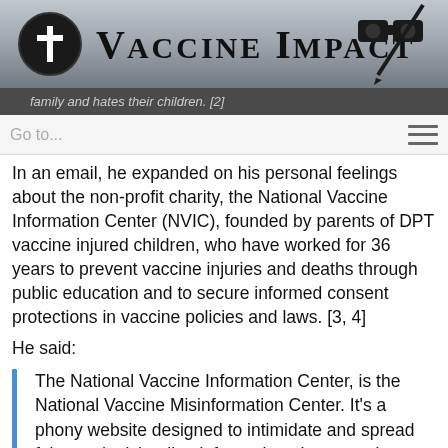Vaccine Impact
family and hates their children. [2]
In an email, he expanded on his personal feelings about the non-profit charity, the National Vaccine Information Center (NVIC), founded by parents of DPT vaccine injured children, who have worked for 36 years to prevent vaccine injuries and deaths through public education and to secure informed consent protections in vaccine policies and laws. [3, 4]
He said:
The National Vaccine Information Center, is the National Vaccine Misinformation Center. It's a phony website designed to intimidate and spread false and misleading information about vaccines.  The NVIC is an important driver of the antivaxer